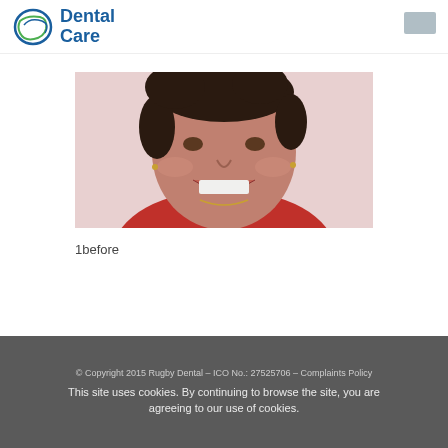Dental Care
[Figure (photo): Before photo of a woman smiling, showing teeth, with dark curly hair, wearing a red top, taken against a light pink background. This is a dental patient before photo.]
1before
© Copyright 2015 Rugby Dental – ICO No.: 27525706 – Complaints Policy
This site uses cookies. By continuing to browse the site, you are agreeing to our use of cookies.